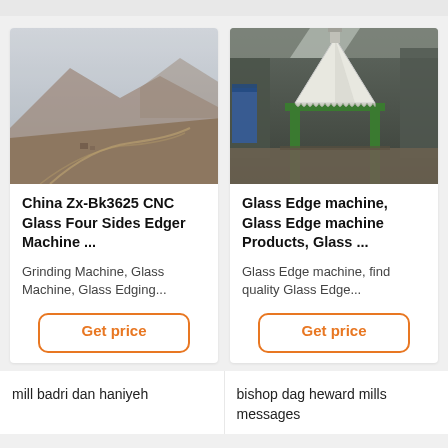[Figure (photo): Aerial/landscape photo of a foggy mountain scene with industrial or mining site below]
China Zx-Bk3625 CNC Glass Four Sides Edger Machine ...
Grinding Machine, Glass Machine, Glass Edging...
[Figure (photo): Industrial warehouse interior with large white cone/funnel-shaped machine on green frame]
Glass Edge machine, Glass Edge machine Products, Glass ...
Glass Edge machine, find quality Glass Edge...
mill badri dan haniyeh
bishop dag heward mills messages